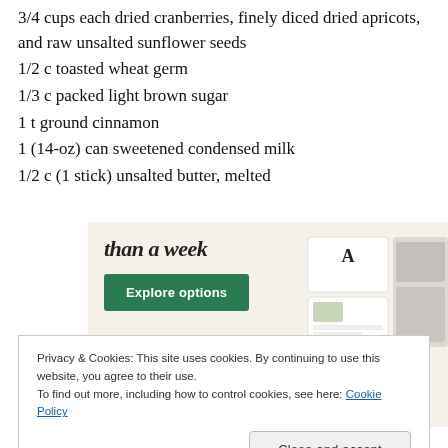3/4 cups each dried cranberries, finely diced dried apricots, and raw unsalted sunflower seeds
1/2 c toasted wheat germ
1/3 c packed light brown sugar
1 t ground cinnamon
1 (14-oz) can sweetened condensed milk
1/2 c (1 stick) unsalted butter, melted
[Figure (screenshot): Advertisement banner showing text 'than a week' with an 'Explore options' green button and website UI mockup screenshots on the right side]
Privacy & Cookies: This site uses cookies. By continuing to use this website, you agree to their use.
To find out more, including how to control cookies, see here: Cookie Policy
Close and accept